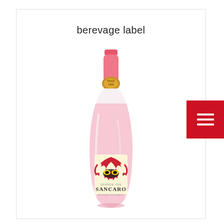berevage label
[Figure (photo): A pink sparkling wine bottle with a decorative label featuring a masquerade mask and ornate red designs. The bottle is tall and slender with a pink foil cap and a gold seal near the neck. The label reads 'SANCARO' with 'GRANDE VUE' above it and additional text below.]